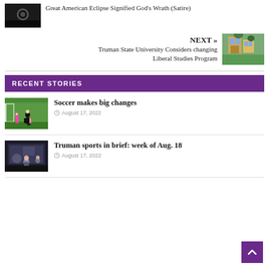[Figure (photo): Dark thumbnail image for previous article about eclipse]
Great American Eclipse Signified God's Wrath (Satire)
NEXT »
Truman State University Considers changing Liberal Studies Program
[Figure (photo): Outdoor campus photo thumbnail]
RECENT STORIES
[Figure (photo): Soccer player on field thumbnail]
Soccer makes big changes
August 17, 2022
[Figure (photo): Indoor sports/event photo thumbnail]
Truman sports in brief: week of Aug. 18
August 17, 2022